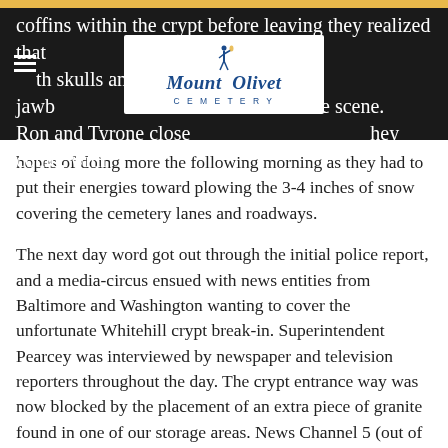coffins within the crypt before leaving they realized that th skulls and a jawbone from the scene. Ron and Tyrone closed hey could, with
[Figure (logo): Mount Olivet Cemetery logo with figure holding torch on top, blue text on white background]
hopes of doing more the following morning as they had to put their energies toward plowing the 3-4 inches of snow covering the cemetery lanes and roadways.
The next day word got out through the initial police report, and a media-circus ensued with news entities from Baltimore and Washington wanting to cover the unfortunate Whitehill crypt break-in. Superintendent Pearcey was interviewed by newspaper and television reporters throughout the day. The crypt entrance way was now blocked by the placement of an extra piece of granite found in one of our storage areas. News Channel 5 (out of Washington) did a live remote report from the cemetery that Tuesday night, and CNN had a team up here as well to do the same.